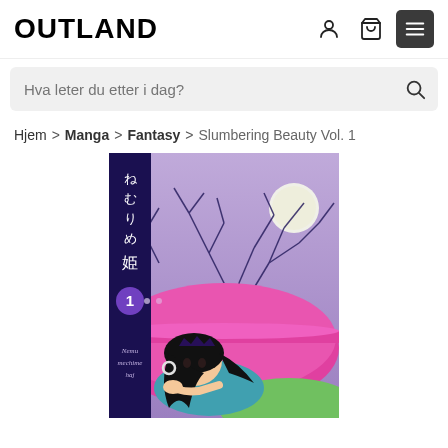OUTLAND
Hva leter du etter i dag?
Hjem > Manga > Fantasy > Slumbering Beauty Vol. 1
[Figure (illustration): Cover art of manga 'Nemurihime' (Slumbering Beauty) Vol. 1 showing an anime-style girl with black hair lying on a pink surface, wearing a teal outfit with a crown, against a purple background with bare tree branches and a full moon. Japanese text on the spine reads ねむりめ姫. A purple circle with number 1 is visible on the left spine.]